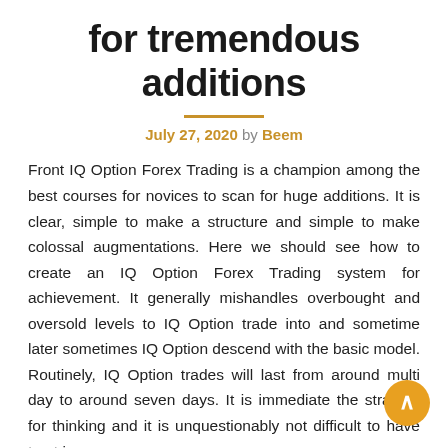for tremendous additions
July 27, 2020 by Beem
Front IQ Option Forex Trading is a champion among the best courses for novices to scan for huge additions. It is clear, simple to make a structure and simple to make colossal augmentations. Here we should see how to create an IQ Option Forex Trading system for achievement. It generally mishandles overbought and oversold levels to IQ Option trade into and sometime later sometimes IQ Option descend with the basic model. Routinely, IQ Option trades will last from around multi day to around seven days. It is immediate the strategy for thinking and it is unquestionably not difficult to have trust in